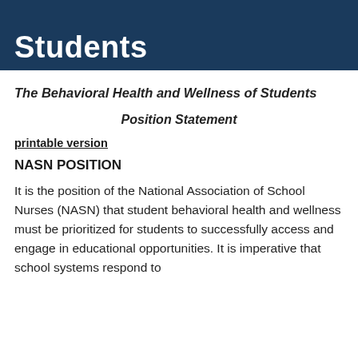Students
The Behavioral Health and Wellness of Students
Position Statement
printable version
NASN POSITION
It is the position of the National Association of School Nurses (NASN) that student behavioral health and wellness must be prioritized for students to successfully access and engage in educational opportunities. It is imperative that school systems respond to